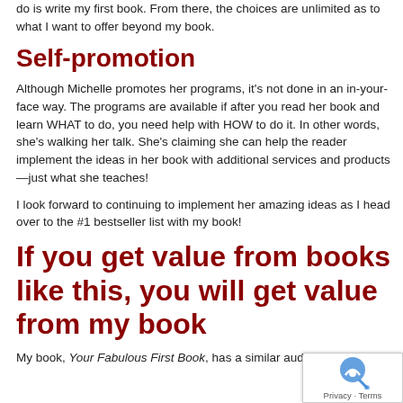do is write my first book. From there, the choices are unlimited as to what I want to offer beyond my book.
Self-promotion
Although Michelle promotes her programs, it’s not done in an in-your-face way. The programs are available if after you read her book and learn WHAT to do, you need help with HOW to do it. In other words, she’s walking her talk. She’s claiming she can help the reader implement the ideas in her book with additional services and products—just what she teaches!
I look forward to continuing to implement her amazing ideas as I head over to the #1 bestseller list with my book!
If you get value from books like this, you will get value from my book
My book, Your Fabulous First Book, has a similar audience;